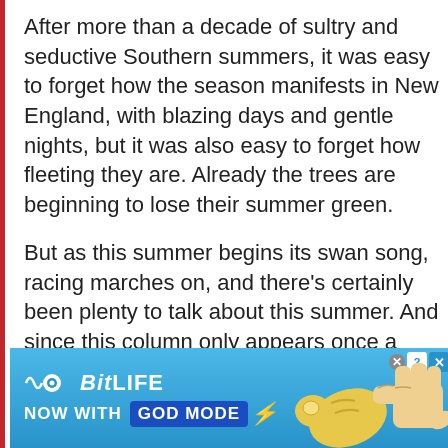After more than a decade of sultry and seductive Southern summers, it was easy to forget how the season manifests in New England, with blazing days and gentle nights, but it was also easy to forget how fleeting they are. Already the trees are beginning to lose their summer green.
But as this summer begins its swan song, racing marches on, and there's certainly been plenty to talk about this summer. And since this column only appears once a month, there are so many bits and pieces to fit into place in the puzzle.
[Figure (other): BitLife advertisement banner: 'NOW WITH GOD MODE' with pointing hand graphics on a blue gradient background]